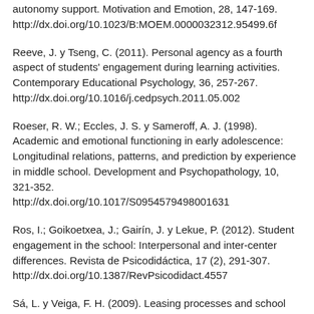autonomy support. Motivation and Emotion, 28, 147-169. http://dx.doi.org/10.1023/B:MOEM.0000032312.95499.6f
Reeve, J. y Tseng, C. (2011). Personal agency as a fourth aspect of students' engagement during learning activities. Contemporary Educational Psychology, 36, 257-267. http://dx.doi.org/10.1016/j.cedpsych.2011.05.002
Roeser, R. W.; Eccles, J. S. y Sameroff, A. J. (1998). Academic and emotional functioning in early adolescence: Longitudinal relations, patterns, and prediction by experience in middle school. Development and Psychopathology, 10, 321-352. http://dx.doi.org/10.1017/S0954579498001631
Ros, I.; Goikoetxea, J.; Gairín, J. y Lekue, P. (2012). Student engagement in the school: Interpersonal and inter-center differences. Revista de Psicodidáctica, 17 (2), 291-307. http://dx.doi.org/10.1387/RevPsicodidact.4557
Sá, L. y Veiga, F. H. (2009). Leasing processes and school performance: Aspects of a study with primary and secondary school pupils. Comunicação apresentada no 1st International